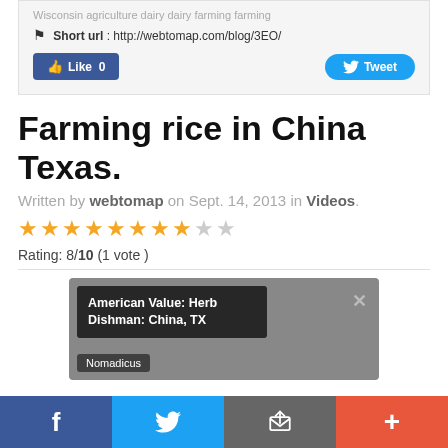Wisconsin agriculture dairy dairy farming farming
Short url : http://webtomap.com/blog/3EO/
[Figure (screenshot): Facebook Like button (count 0) and Twitter Tweet button]
Farming rice in China Texas.
Written by webtomap on Sept. 14, 2013 in Videos.
[Figure (other): Star rating: 8 out of 10 stars (8 filled, 2 empty)]
Rating: 8/10 (1 vote )
[Figure (screenshot): Video preview thumbnail showing 'American Value: Herb Dishman: China, TX' title overlay with close button and partial subtitle text 'Nomadicus']
[Figure (other): Bottom social share bar with Facebook, Twitter, share/email, and plus buttons]